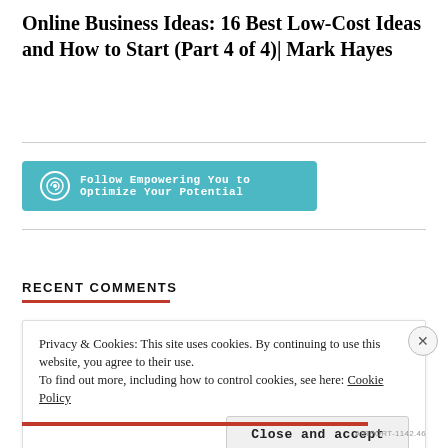Online Business Ideas: 16 Best Low-Cost Ideas and How to Start (Part 4 of 4)| Mark Hayes
[Figure (other): WordPress Follow button widget with cyan/teal background reading 'Follow Empowering You to Optimize Your Potential']
RECENT COMMENTS
Privacy & Cookies: This site uses cookies. By continuing to use this website, you agree to their use.
To find out more, including how to control cookies, see here: Cookie Policy
Close and accept